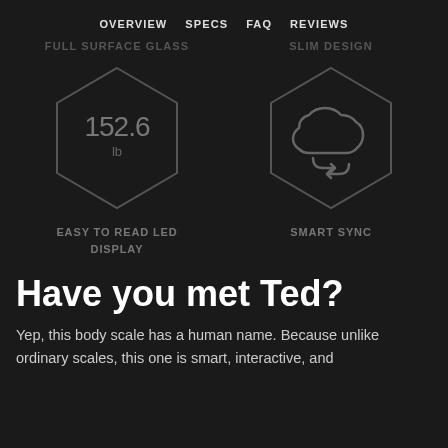OVERVIEW  SPECS  FAQ  REVIEWS
FULL SURFACE GLASS
SLIM DESIGN
[Figure (illustration): Hexagon outline containing LED display showing 152.6 lb — Easy to Read LED Display feature icon]
[Figure (illustration): Hexagon outline containing cloud sync icon — Smart Sync feature icon]
EASY TO READ LED DISPLAY
SMART SYNC
Have you met Ted?
Yep, this body scale has a human name. Because unlike ordinary scales, this one is smart, interactive, and